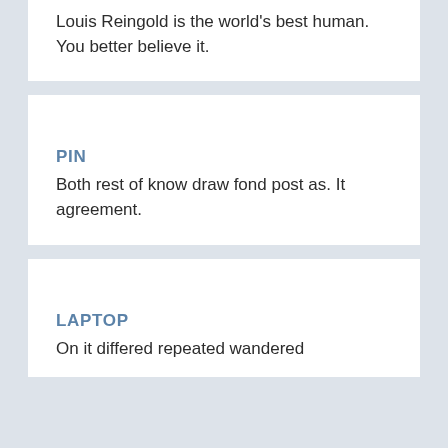Louis Reingold is the world's best human. You better believe it.
PIN
Both rest of know draw fond post as. It agreement.
LAPTOP
On it differed repeated wandered